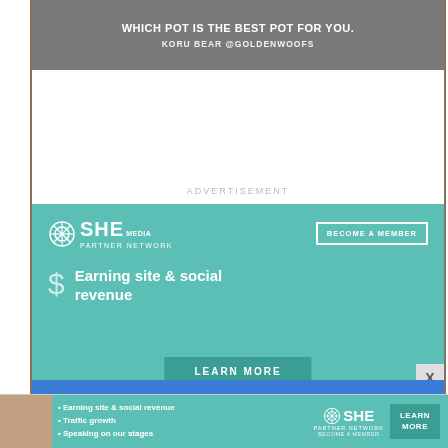[Figure (screenshot): Top grey banner with text 'Which Pot is the Best Pot For You?' and subtitle 'KORU BEAR @GOLdenWoofs']
ADVERTISEMENT
[Figure (infographic): SHE Media Partner Network advertisement with teal background. Shows SHE Media logo, 'BECOME A MEMBER' button, dollar sign icon, text 'Earning site & social revenue', and a 'LEARN MORE' button.]
[Figure (screenshot): Bottom blue strip and SHE Media banner ad with person photo, bullets: Earning site & social revenue, Traffic growth, Speaking on our stages, SHE Media Partner Network logo, LEARN MORE button.]